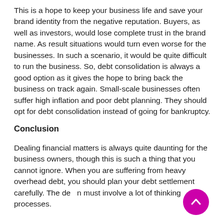This is a hope to keep your business life and save your brand identity from the negative reputation. Buyers, as well as investors, would lose complete trust in the brand name. As result situations would turn even worse for the businesses. In such a scenario, it would be quite difficult to run the business. So, debt consolidation is always a good option as it gives the hope to bring back the business on track again. Small-scale businesses often suffer high inflation and poor debt planning. They should opt for debt consolidation instead of going for bankruptcy.
Conclusion
Dealing financial matters is always quite daunting for the business owners, though this is such a thing that you cannot ignore. When you are suffering from heavy overhead debt, you should plan your debt settlement carefully. The debt must involve a lot of thinking processes.